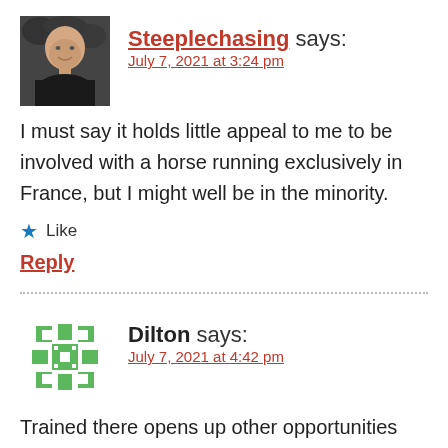[Figure (photo): Black and white avatar photo of a bald man in a dark shirt]
Steeplechasing says:
July 7, 2021 at 3:24 pm
I must say it holds little appeal to me to be involved with a horse running exclusively in France, but I might well be in the minority.
★ Like
Reply
[Figure (illustration): Green decorative snowflake/cross avatar icon]
Dilton says:
July 7, 2021 at 4:42 pm
Trained there opens up other opportunities into Germany, Spain, Belguim etc. If it's good